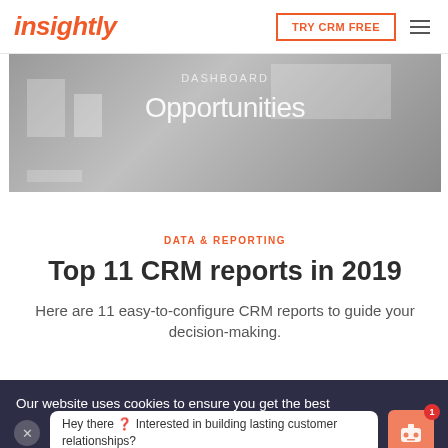insightly | TRY CRM FREE
[Figure (screenshot): Grayscale screenshot of a CRM dashboard interface showing 'DASHBOARD Opportunities' text overlay]
DATA & REPORTING
Top 11 CRM reports in 2019
Here are 11 easy-to-configure CRM reports to guide your decision-making.
Our website uses cookies to ensure you get the best experience. Read our Privacy Policy
Hey there ? Interested in building lasting customer relationships?